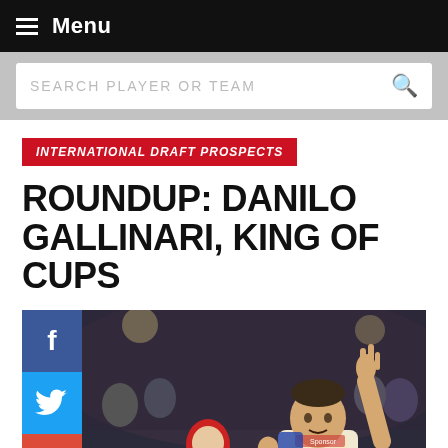Menu
SEARCH PLAYER OR TEAM
INTERNATIONAL DRAFT PROSPECTS
ROUNDUP: DANILO GALLINARI, KING OF CUPS
[Figure (photo): Basketball player Danilo Gallinari in a white uniform pointing upward on a court, with another player in red in the background and crowd in stands]